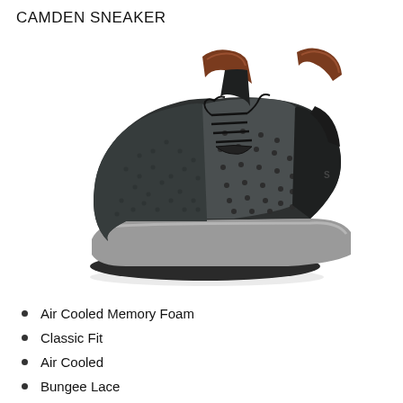CAMDEN SNEAKER
[Figure (photo): A Skechers Camden Sneaker shown at a three-quarter angle. The shoe features dark charcoal/black mesh upper, perforated grey leather-look midfoot panel, brown leather-look collar and tongue accent, black bungee lace system, and a light grey midsole with black rubber outsole.]
Air Cooled Memory Foam
Classic Fit
Air Cooled
Bungee Lace